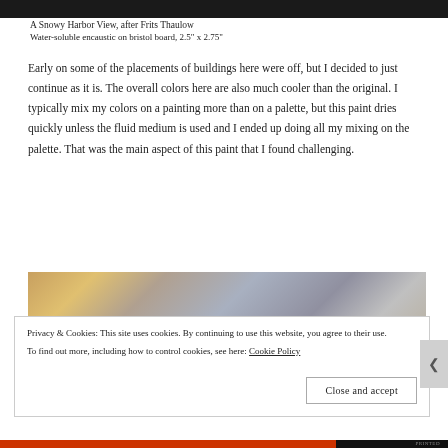[Figure (photo): Top portion of a painting showing dark tones, partially visible — cropped at top of page]
A Snowy Harbor View, after Frits Thaulow
Water-soluble encaustic on bristol board, 2.5" x 2.75"
Early on some of the placements of buildings here were off, but I decided to just continue as it is. The overall colors here are also much cooler than the original. I typically mix my colors on a painting more than on a palette, but this paint dries quickly unless the fluid medium is used and I ended up doing all my mixing on the palette. That was the main aspect of this paint that I found challenging.
[Figure (photo): Bottom portion of a colorful painting with yellow, orange, gray and blue streaks — partially visible]
Privacy & Cookies: This site uses cookies. By continuing to use this website, you agree to their use.
To find out more, including how to control cookies, see here: Cookie Policy